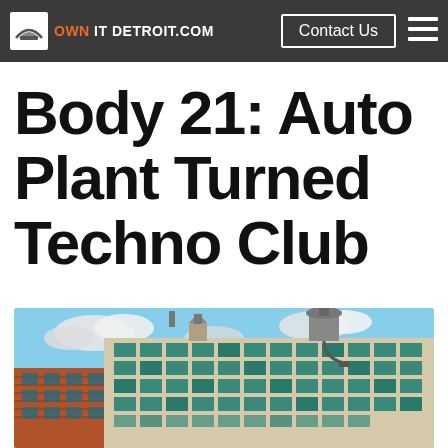OWN IT DETROIT.COM — Detroit's Fisher — Contact Us
Body 21: Auto Plant Turned Techno Club
[Figure (photo): Exterior photograph of a large multi-story industrial building with teal/green-framed windows, exposed brick, water towers on roof, against a blue partly cloudy sky — the Fisher Body Plant 21 in Detroit]